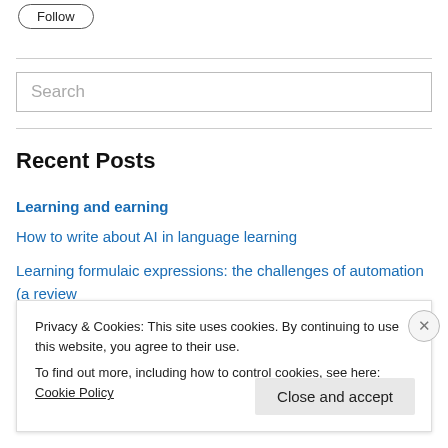Follow
Search
Recent Posts
Learning and earning
How to write about AI in language learning
Learning formulaic expressions: the challenges of automation (a review of IdiomsTube)
Privacy & Cookies: This site uses cookies. By continuing to use this website, you agree to their use.
To find out more, including how to control cookies, see here: Cookie Policy
Close and accept